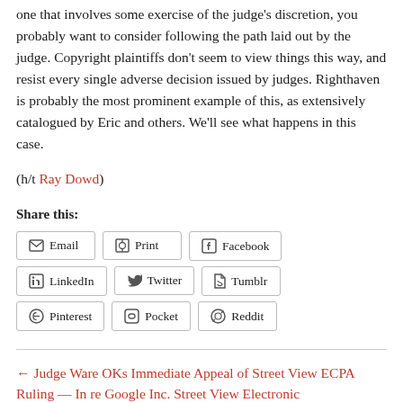one that involves some exercise of the judge's discretion, you probably want to consider following the path laid out by the judge. Copyright plaintiffs don't seem to view things this way, and resist every single adverse decision issued by judges. Righthaven is probably the most prominent example of this, as extensively catalogued by Eric and others. We'll see what happens in this case.
(h/t Ray Dowd)
Share this:
Email
Print
Facebook
LinkedIn
Twitter
Tumblr
Pinterest
Pocket
Reddit
← Judge Ware OKs Immediate Appeal of Street View ECPA Ruling — In re Google Inc. Street View Electronic Communications Litigation